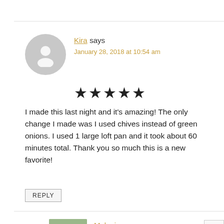Kira says
January 28, 2018 at 10:54 am
[Figure (other): 5-star rating (5 filled black stars)]
I made this last night and it's amazing! The only change I made was I used chives instead of green onions. I used 1 large loft pan and it took about 60 minutes total. Thank you so much this is a new favorite!
REPLY
Melanie says
January 29, 2018 at 1:41 pm
Kira, so great to hear. Glad you